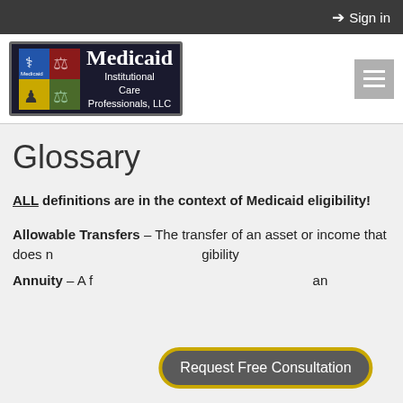Sign in
[Figure (logo): Medicaid Institutional Care Professionals, LLC logo with colorful quadrant icon and white text on dark background]
Glossary
ALL definitions are in the context of Medicaid eligibility!
Allowable Transfers – The transfer of an asset or income that does not trigger a period of ineligibility
Annuity – A financial product that can
Request Free Consultation